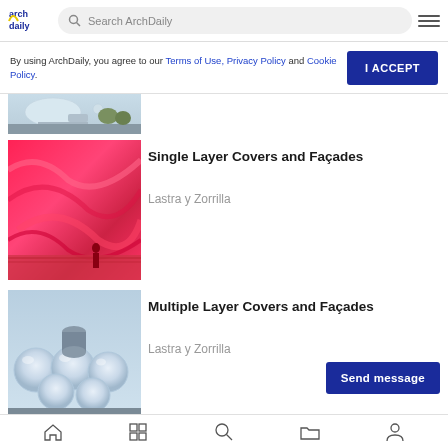ArchDaily - Search ArchDaily
By using ArchDaily, you agree to our Terms of Use, Privacy Policy and Cookie Policy.
I ACCEPT
[Figure (photo): Partial rooftop view with sky and trees]
[Figure (photo): Pink/red translucent fabric canopy installation with person in background]
Single Layer Covers and Façades
Lastra y Zorrilla
[Figure (photo): Silver bubble-shaped ETFE cushion roof structure against sky]
Multiple Layer Covers and Façades
Lastra y Zorrilla
Send message
Navigation icons: home, grid, search, folder, person